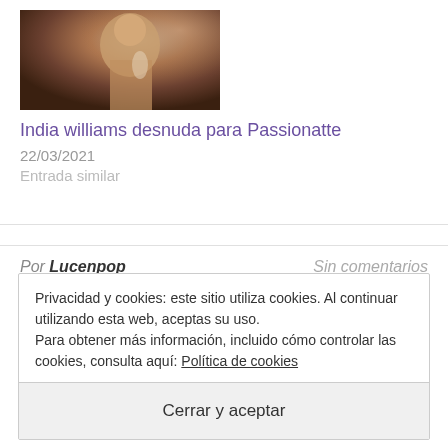[Figure (photo): Photo of a woman holding a glass, indoor setting]
India williams desnuda para Passionatte
22/03/2021
Entrada similar
Por Lucenpop   Sin comentarios
Privacidad y cookies: este sitio utiliza cookies. Al continuar utilizando esta web, aceptas su uso.
Para obtener más información, incluido cómo controlar las cookies, consulta aquí: Política de cookies
Cerrar y aceptar